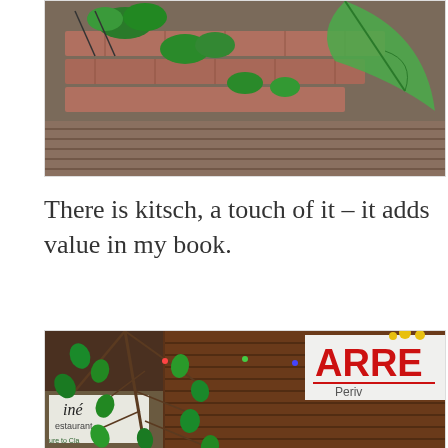[Figure (photo): Aerial/overhead view of brick steps or planters with tropical green plants growing among them, on a wooden deck or patio area]
There is kitsch, a touch of it – it adds value in my book.
[Figure (photo): Exterior of a restaurant with wooden walls, a sign reading 'ARRE' (partially visible) and 'Peruvian', decorative bare branches with green leaf ornaments and string lights, another sign partially visible reading 'iné Restaurant']